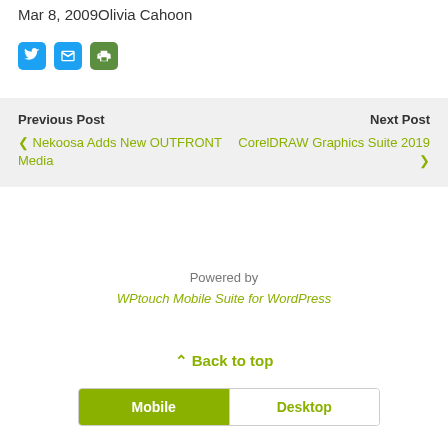Mar 8, 2009Olivia Cahoon
[Figure (other): Social share icons: Twitter (blue bird), Email (blue envelope), Print (green printer)]
Previous Post
< Nekoosa Adds New OUTFRONT Media
Next Post
CorelDRAW Graphics Suite 2019 >
Powered by
WPtouch Mobile Suite for WordPress
^ Back to top
Mobile | Desktop